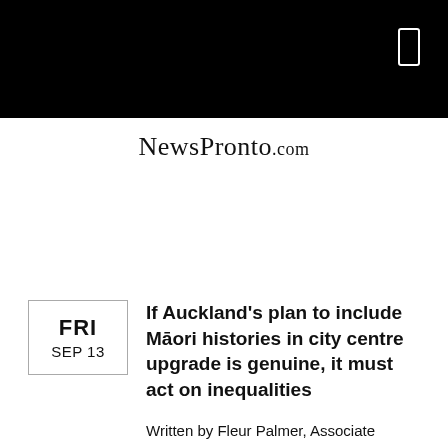[Figure (other): Black header bar with a white phone/mobile icon outline in the top right corner]
NewsPronto.com
If Auckland's plan to include Māori histories in city centre upgrade is genuine, it must act on inequalities
Written by Fleur Palmer, Associate Professor, Auckland University of Technology